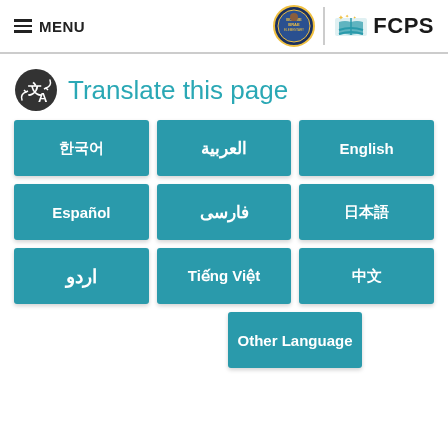≡ MENU | [School Seal Logo] | FCPS
Translate this page
| 한국어 | العربية | English |
| Español | فارسی | 日本語 |
| اردو | Tiếng Việt | 中文 |
Other Language